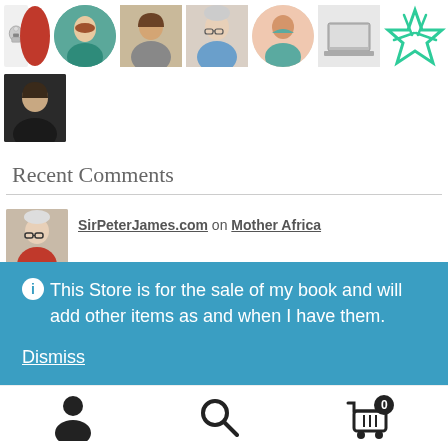[Figure (photo): Row of circular/square avatar images of various people and icons]
[Figure (photo): Single avatar photo of a woman with dark hair]
Recent Comments
[Figure (photo): Avatar photo of an older man with glasses]
SirPeterJames.com on Mother Africa
[Figure (photo): Second avatar photo, partially visible, comment faded]
SirPeterJames.com on Mother Africa
ℹ This Store is for the sale of my book and will add other items as and when I have them.
Dismiss
[Figure (infographic): Bottom navigation bar with person icon, search icon, and cart icon with badge 0]